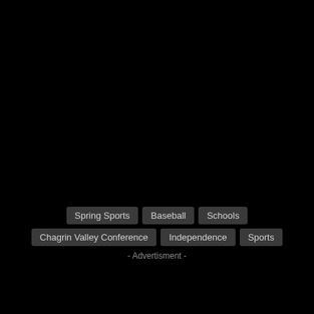Spring Sports
Baseball
Schools
Chagrin Valley Conference
Independence
Sports
- Advertisment -